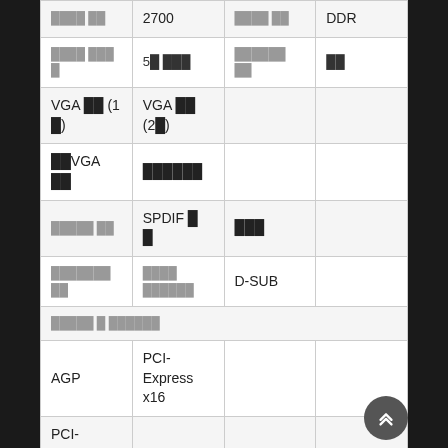| ████ ██ | 2700 | ████ ██ | DDR |
| ████ ███ █ | 5█ ███ | ██████ ██ | ██ |
| VGA ██ (1█) | VGA ██ (2█) |  |  |
| ██VGA ██ | ██████ |  |  |
| █████ ██ | SPDIF █ █ | ███ |  |
| ███████ ██ | ████ ██████ | D-SUB |  |
| █████ █ ██████ |  |  |  |
| AGP | PCI-Express x16 |  |  |
| PCI-Express x1 | PCI | ○ |  |